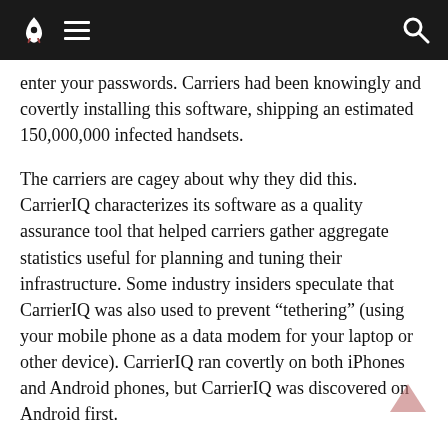Navigation bar with rocket logo, hamburger menu, and search icon
enter your passwords. Carriers had been knowingly and covertly installing this software, shipping an estimated 150,000,000 infected handsets.
The carriers are cagey about why they did this. CarrierIQ characterizes its software as a quality assurance tool that helped carriers gather aggregate statistics useful for planning and tuning their infrastructure. Some industry insiders speculate that CarrierIQ was also used to prevent “tethering” (using your mobile phone as a data modem for your laptop or other device). CarrierIQ ran covertly on both iPhones and Android phones, but CarrierIQ was discovered on Android first.
Android is closer to Ubuntu in its curatorial model than it is to Apple’s iOS. Out of the box, Android devices trust software from Google’s Marketplace, but a checkbox